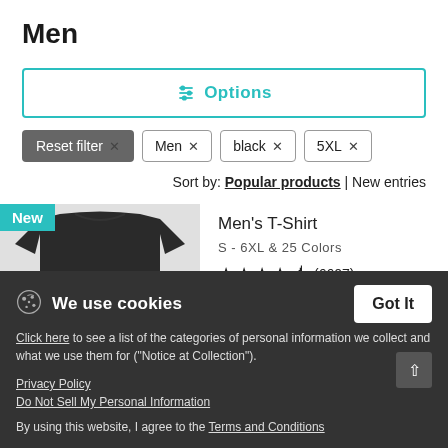Men
Options
Reset filter ×  Men ×  black ×  5XL ×
Sort by: Popular products | New entries
[Figure (photo): Black men's t-shirt on light grey background with 'New' badge in teal]
Men's T-Shirt
S - 6XL & 25 Colors
★★★★½ (6607)
We use cookies
Click here to see a list of the categories of personal information we collect and what we use them for ("Notice at Collection").
Privacy Policy
Do Not Sell My Personal Information
By using this website, I agree to the Terms and Conditions
Got It